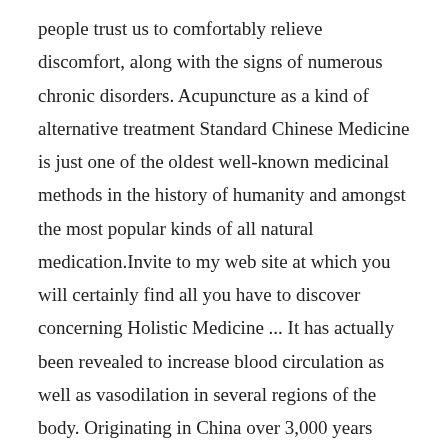people trust us to comfortably relieve discomfort, along with the signs of numerous chronic disorders. Acupuncture as a kind of alternative treatment Standard Chinese Medicine is just one of the oldest well-known medicinal methods in the history of humanity and amongst the most popular kinds of all natural medication.Invite to my web site at which you will certainly find all you have to discover concerning Holistic Medicine ... It has actually been revealed to increase blood circulation as well as vasodilation in several regions of the body. Originating in China over 3,000 years back, acupuncture is presently utilized worldwide either alone or with each other with western medication. The needles used in http://www.healthmedplus.com/ acupuncture are small and flexible and also ought to pass conveniently.The expression holistic medication is regularly used to describe unique treatments and medications.Obtain the Inside Story on Acupuncture and also Holistic Medication Before You're As well LateWith personal focus given to your details